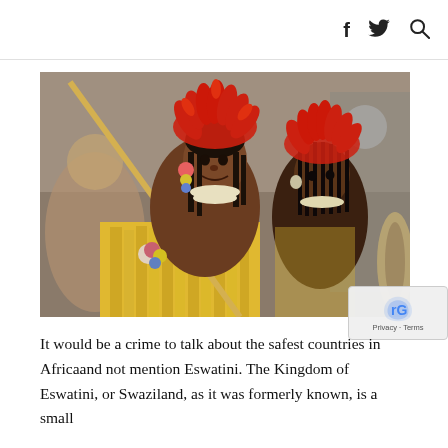f  [twitter icon]  [search icon]
[Figure (photo): Two young women in traditional Swazi attire with red feathered headdresses and yellow reed costumes at a ceremony, holding decorated sticks/reeds.]
It would be a crime to talk about the safest countries in Africaand not mention Eswatini. The Kingdom of Eswatini, or Swaziland, as it was formerly known, is a small